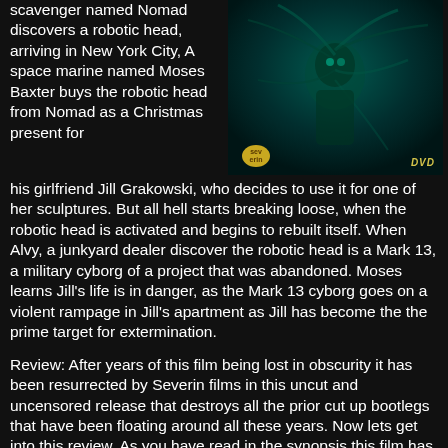scavenger named Nomad discovers a robotic head, arriving in New York City, A space marine named Moses Baxter buys the robotic head from Nomad as a Christmas present for his girlfriend Jill Grakowski, who decides to use it for one of her sculptures. But all hell starts breaking loose, when the robotic head is activated and begins to rebuilt itself. When Alvy, a junkyard dealer discover the robotic head is a Mark 13, a military cyborg of a project that was abandoned. Moses learns Jill's life is in danger, as the Mark 13 cyborg goes on a violent rampage in Jill's apartment as Jill has become the the prime target for extermination.
[Figure (photo): Movie cover/still image with dark teal/green tones showing a robotic or cyborg figure with mechanical tentacle-like appendages. A yellow circular logo badge is in the lower left and a DVD label in the lower right.]
Review: After years of this film being lost in obscurity it has been resurrected by Severin films in this uncut and uncensored release that destroys all the prior cut up bootlegs that have been floating around all these years. Now lets get into this review. As you have read in the synopsis this film has been lost in